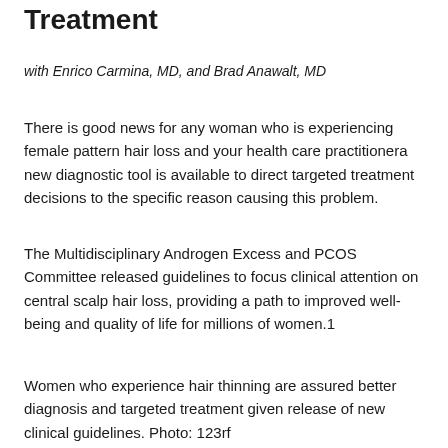Treatment
with Enrico Carmina, MD, and Brad Anawalt, MD
There is good news for any woman who is experiencing female pattern hair loss and your health care practitionera new diagnostic tool is available to direct targeted treatment decisions to the specific reason causing this problem.
The Multidisciplinary Androgen Excess and PCOS Committee released guidelines to focus clinical attention on central scalp hair loss, providing a path to improved well-being and quality of life for millions of women.1
Women who experience hair thinning are assured better diagnosis and targeted treatment given release of new clinical guidelines. Photo: 123rf